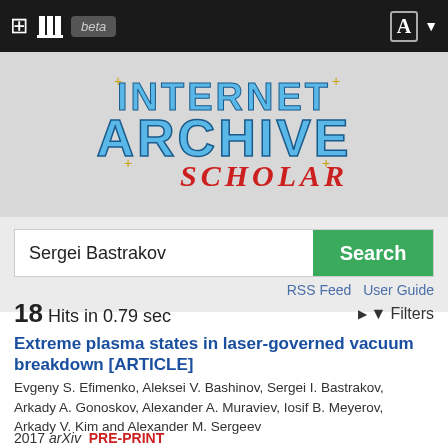Internet Archive Scholar beta
[Figure (logo): Internet Archive Scholar logo with stylized blue metallic text 'INTERNET ARCHIVE' and red italic cursive 'SCHOLAR' on grey background]
Sergei Bastrakov
RSS Feed  User Guide
18 Hits in 0.79 sec
Filters
Extreme plasma states in laser-governed vacuum breakdown [ARTICLE]
Evgeny S. Efimenko, Aleksei V. Bashinov, Sergei I. Bastrakov, Arkady A. Gonoskov, Alexander A. Muraviev, Iosif B. Meyerov, Arkady V. Kim and Alexander M. Sergeev
2017 arXiv  PRE-PRINT